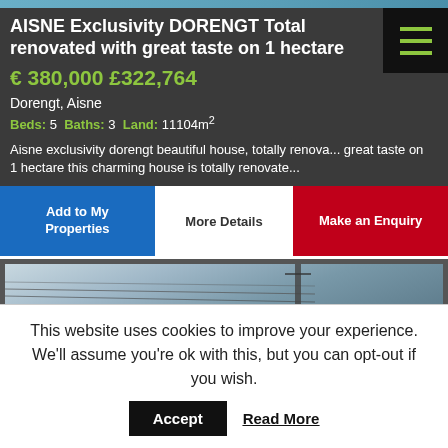[Figure (photo): Top portion of a property photo, sky/outdoor scene]
AISNE Exclusivity DORENGT Total renovated with great taste on 1 hectare
€ 380,000 £322,764
Dorengt, Aisne
Beds: 5 Baths: 3 Land: 11104m²
Aisne exclusivity dorengt beautiful house, totally renova... great taste on 1 hectare this charming house is totally renovate...
Add to My Properties | More Details | Make an Enquiry
[Figure (photo): Partial view of a property exterior with utility poles and wires against overcast sky]
This website uses cookies to improve your experience. We'll assume you're ok with this, but you can opt-out if you wish.
Accept  Read More